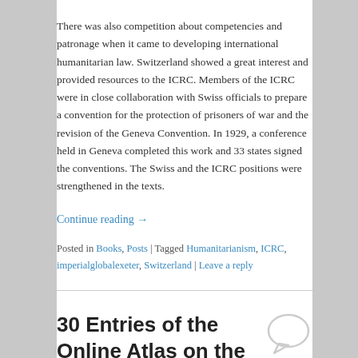There was also competition about competencies and patronage when it came to developing international humanitarian law. Switzerland showed a great interest and provided resources to the ICRC. Members of the ICRC were in close collaboration with Swiss officials to prepare a convention for the protection of prisoners of war and the revision of the Geneva Convention. In 1929, a conference held in Geneva completed this work and 33 states signed the conventions. The Swiss and the ICRC positions were strengthened in the texts.
Continue reading →
Posted in Books, Posts | Tagged Humanitarianism, ICRC, imperialglobalexeter, Switzerland | Leave a reply
30 Entries of the Online Atlas on the History of